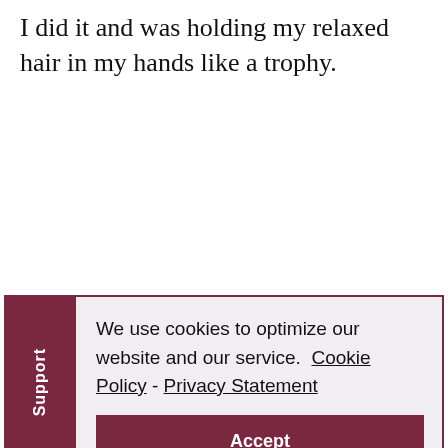I did it and was holding my relaxed hair in my hands like a trophy.
We use cookies to optimize our website and our service.  Cookie Policy - Privacy Statement
Accept